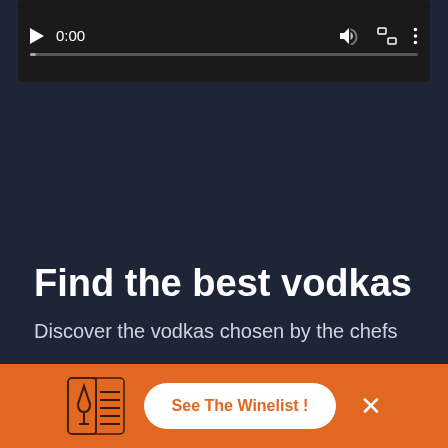[Figure (screenshot): Video player control bar showing play button, time display 0:00, volume icon, fullscreen icon, and options icon, with a progress bar below]
Find the best vodkas
Discover the vodkas chosen by the chefs
[Figure (other): Bottom orange bar with wine list icon, 'See The Winelist!' button, and close X button]